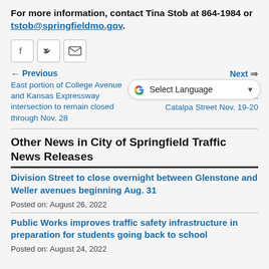For more information, contact Tina Stob at 864-1984 or tstob@springfieldmo.gov.
[Figure (other): Social share buttons: Facebook, Twitter, Email]
← Previous
East portion of College Avenue and Kansas Expressway intersection to remain closed through Nov. 28
Next ⇒
W... between... Catalpa Street Nov. 19-20
[Figure (screenshot): Google Translate Select Language dropdown overlay]
Other News in City of Springfield Traffic News Releases
Division Street to close overnight between Glenstone and Weller avenues beginning Aug. 31
Posted on: August 26, 2022
Public Works improves traffic safety infrastructure in preparation for students going back to school
Posted on: August 24, 2022